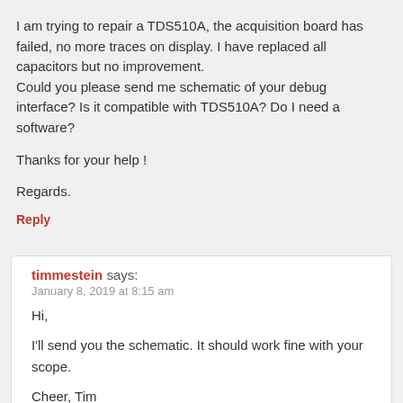I am trying to repair a TDS510A, the acquisition board has failed, no more traces on display. I have replaced all capacitors but no improvement.
Could you please send me schematic of your debug interface? Is it compatible with TDS510A? Do I need a software?
Thanks for your help !
Regards.
Reply
timmestein says:
January 8, 2019 at 8:15 am
Hi,
I'll send you the schematic. It should work fine with your scope.
Cheer, Tim
Reply